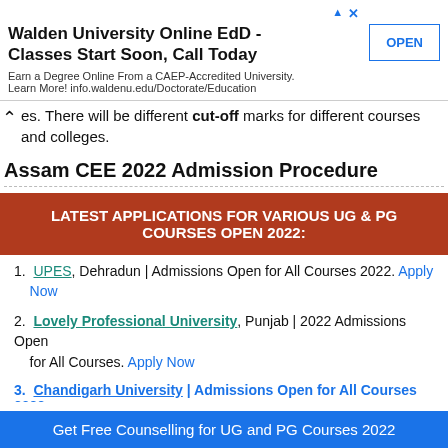[Figure (other): Advertisement banner for Walden University Online EdD with OPEN button]
es. There will be different cut-off marks for different courses and colleges.
Assam CEE 2022 Admission Procedure
[Figure (infographic): Red banner: LATEST APPLICATIONS FOR VARIOUS UG & PG COURSES OPEN 2022:]
UPES, Dehradun | Admissions Open for All Courses 2022. Apply Now
Lovely Professional University, Punjab | 2022 Admissions Open for All Courses. Apply Now
Get Free Counselling for UG and PG Courses 2022